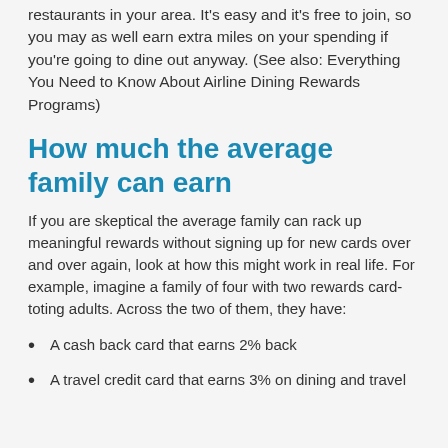restaurants in your area. It's easy and it's free to join, so you may as well earn extra miles on your spending if you're going to dine out anyway. (See also: Everything You Need to Know About Airline Dining Rewards Programs)
How much the average family can earn
If you are skeptical the average family can rack up meaningful rewards without signing up for new cards over and over again, look at how this might work in real life. For example, imagine a family of four with two rewards card-toting adults. Across the two of them, they have:
A cash back card that earns 2% back
A travel credit card that earns 3% on dining and travel